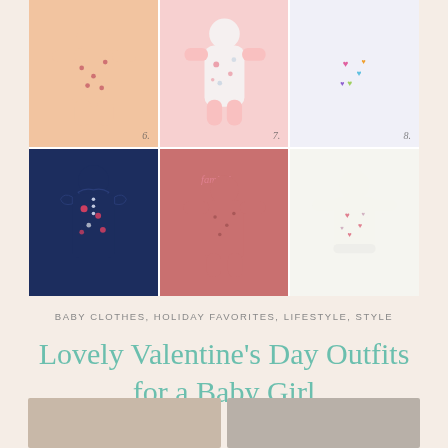[Figure (photo): A 3x2 grid collage of baby girl Valentine's Day outfits: top row shows three footed sleepers (peach with small prints, pink/white with floral print numbered 7, white with colorful hearts numbered 8); bottom row shows a navy blue ruffled romper, a dusty rose long-sleeve romper with 'family!' text, and a white long-sleeve top with small heart prints]
BABY CLOTHES, HOLIDAY FAVORITES, LIFESTYLE, STYLE
Lovely Valentine's Day Outfits for a Baby Girl
[Figure (photo): Bottom partial strip showing two baby/lifestyle photos cropped at page edge]